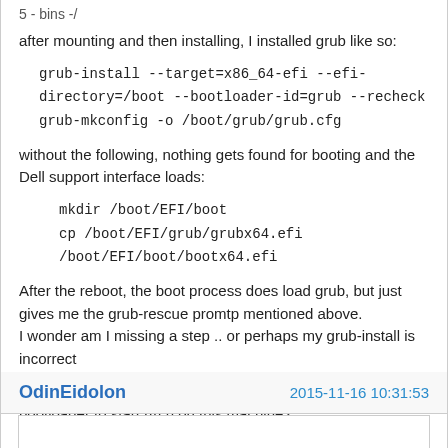5 - bins -/
after mounting and then installing, I installed grub like so:
grub-install --target=x86_64-efi --efi-directory=/boot --bootloader-id=grub --recheck
grub-mkconfig -o /boot/grub/grub.cfg
without the following, nothing gets found for booting and the Dell support interface loads:
mkdir /boot/EFI/boot
cp /boot/EFI/grub/grubx64.efi  /boot/EFI/boot/bootx64.efi
After the reboot, the boot process does load grub, but just gives me the grub-rescue promtp mentioned above.
I wonder am I missing a step .. or perhaps my grub-install is incorrect
Can you remember how you installed/confgured the bootloader to start Arch on this machine?
cheers
OdinEidolon
2015-11-16 10:31:53